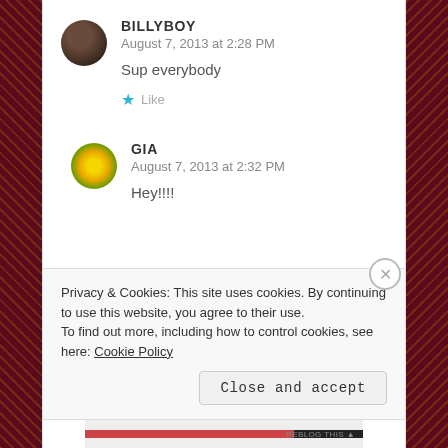BILLYBOY
August 7, 2013 at 2:28 PM
Sup everybody
★ Like
GIA
August 7, 2013 at 2:32 PM
Hey!!!!
Privacy & Cookies: This site uses cookies. By continuing to use this website, you agree to their use.
To find out more, including how to control cookies, see here: Cookie Policy
Close and accept